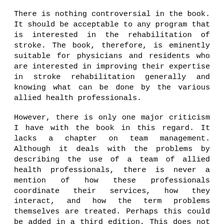There is nothing controversial in the book. It should be acceptable to any program that is interested in the rehabilitation of stroke. The book, therefore, is eminently suitable for physicians and residents who are interested in improving their expertise in stroke rehabilitation generally and knowing what can be done by the various allied health professionals.
However, there is only one major criticism I have with the book in this regard. It lacks a chapter on team management. Although it deals with the problems by describing the use of a team of allied health professionals, there is never a mention of how these professionals coordinate their services, how they interact, and how the term problems themselves are treated. Perhaps this could be added in a third edition. This does not detract from the value of the book, and I recommend it wholeheartedly as the main reference for any stroke program.